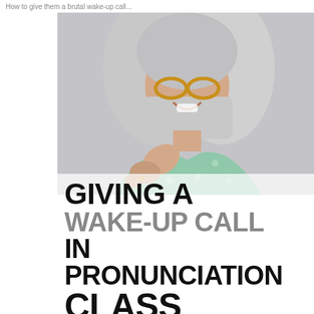How to give them a brutal wake-up call...
[Figure (photo): A smiling older woman with silver bob haircut and amber glasses, pointing finger at viewer, wearing a light green polka dot top, against a gray background. Overlaid with large bold text about giving a wake-up call in pronunciation class.]